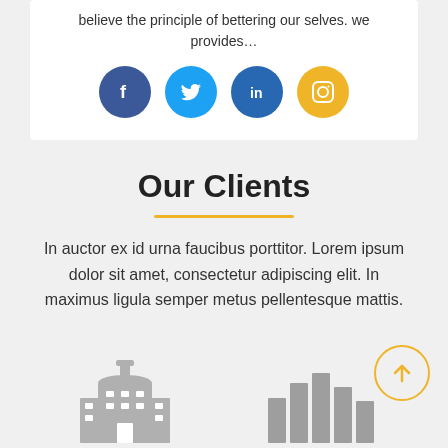believe the principle of bettering our selves. we provides…
[Figure (illustration): Four social media icon circles: Facebook (dark blue), Twitter (light blue), LinkedIn (blue), Instagram (gold/yellow)]
Our Clients
In auctor ex id urna faucibus porttitor. Lorem ipsum dolor sit amet, consectetur adipiscing elit. In maximus ligula semper metus pellentesque mattis.
[Figure (illustration): Two building/city icons at bottom left and right, and a gold circular scroll-to-top arrow button at bottom right]